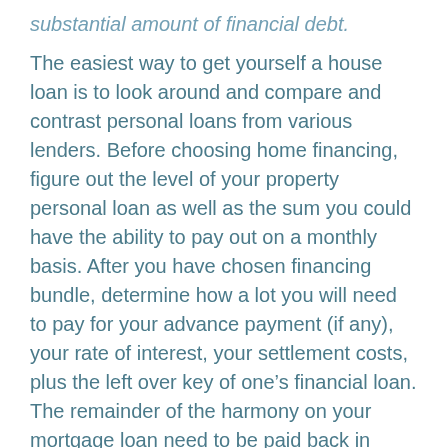substantial amount of financial debt.
The easiest way to get yourself a house loan is to look around and compare and contrast personal loans from various lenders. Before choosing home financing, figure out the level of your property personal loan as well as the sum you could have the ability to pay out on a monthly basis. After you have chosen financing bundle, determine how a lot you will need to pay for your advance payment (if any), your rate of interest, your settlement costs, plus the left over key of one’s financial loan. The remainder of the harmony on your mortgage loan need to be paid back in many years. Using these strategies can help you pick the right home finance loan for your financial plans.
If you beloved this article and you would like to collect more info about https://wcmtg.com kindly visit